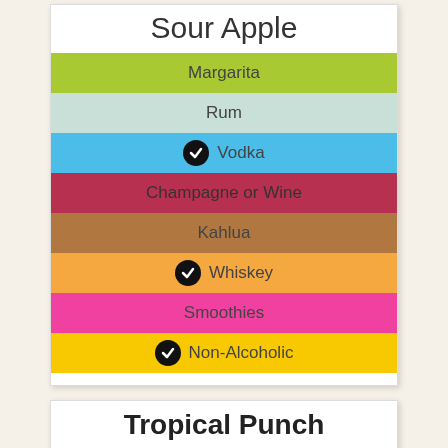Sour Apple
Margarita
Rum
✓ Vodka
Champagne or Wine
Kahlua
✓ Whiskey
Smoothies
✓ Non-Alcoholic
Tropical Punch